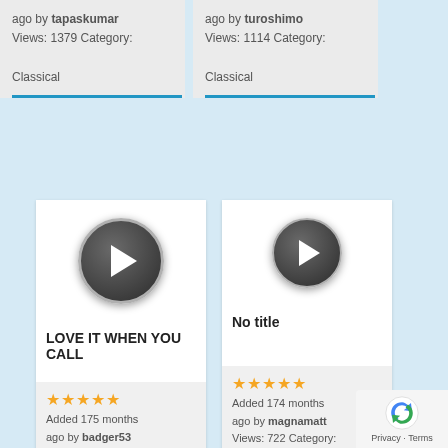ago by tapaskumar
Views: 1379 Category:
Classical
ago by turoshimo
Views: 1114 Category:
Classical
[Figure (screenshot): Video thumbnail with play button for LOVE IT WHEN YOU CALL]
LOVE IT WHEN YOU CALL
★★★★★
Added 175 months ago by badger53
Views: 1052 Category:
[Figure (screenshot): Video thumbnail with play button for No title]
No title
★★★★★
Added 174 months ago by magnamatt
Views: 722 Category: